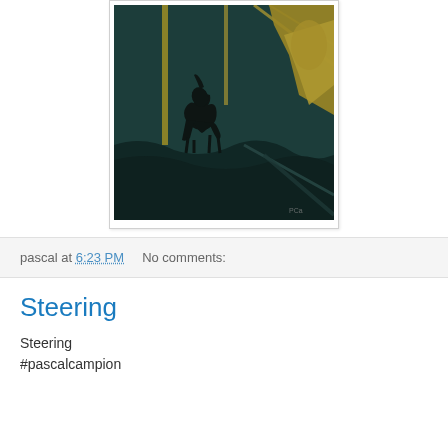[Figure (illustration): Dark atmospheric digital illustration showing a black wolf or dog silhouette howling, with a large figure wearing yellow/gold clothing visible in the upper right, set against a dark teal/green moody background with structural elements and rubble. Artist signature visible in lower right corner.]
pascal at 6:23 PM    No comments:
Steering
Steering
#pascalcampion